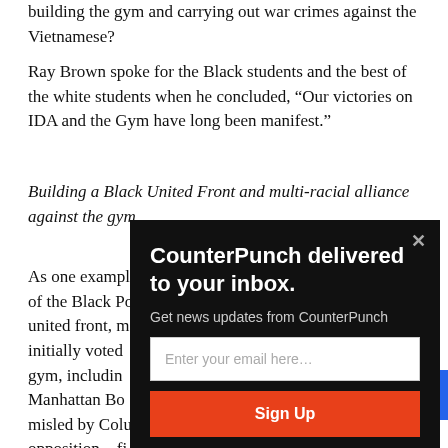building the gym and carrying out war crimes against the Vietnamese?
Ray Brown spoke for the Black students and the best of the white students when he concluded, “Our victories on IDA and the Gym have long been manifest.”
Building a Black United Front and multi-racial alliance against the gym.
As one example of the growing power of the Black Power and Bla… united front, m… initially voted … gym, includin… Manhattan Bo… misled by Colu… opposition—fi… gym more co… did Columbia … coming out ag…
[Figure (other): Newsletter subscription modal overlay on a CounterPunch article page. Black background with white bold title 'CounterPunch delivered to your inbox.', gray subtitle 'Get news updates from CounterPunch', a white email input field with placeholder 'Enter your email here...', and an orange 'Sign Up' button. A gray X close button is in the top right corner.]